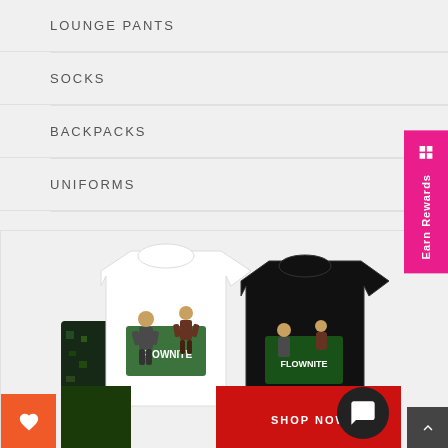LOUNGE PANTS
SOCKS
BACKPACKS
UNIFORMS
[Figure (photo): Two Flownite graphic t-shirts (one white, one black) displayed with gaming character artwork, alongside colorful leggings/pants. A red 'SHOP NOW' button overlay and orange wishlist heart button are visible at the bottom.]